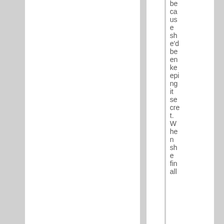because she'd been keeping it secret. When she finally